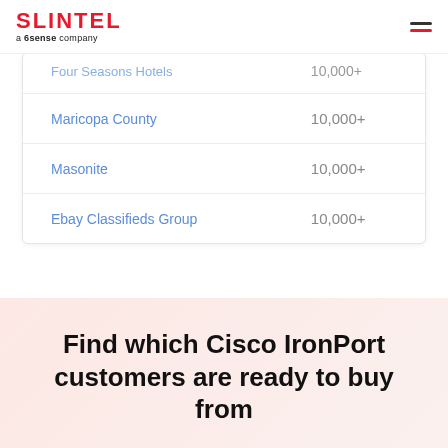SLINTEL a 6sense company
| Company | Employees |
| --- | --- |
| Four Seasons Hotels | 10,000+ |
| Maricopa County | 10,000+ |
| Masonite | 10,000+ |
| Ebay Classifieds Group | 10,000+ |
Find which Cisco IronPort customers are ready to buy from